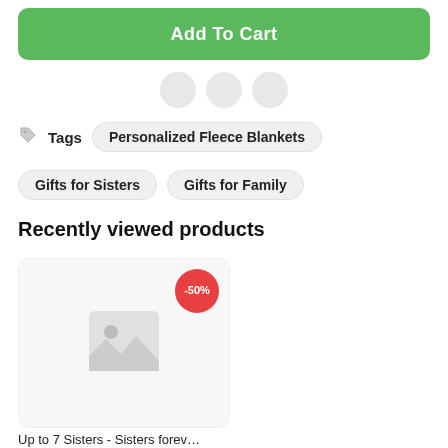Add To Cart
[Figure (other): Three small circular social media share icons (grey circles)]
Tags  Personalized Fleece Blankets
Gifts for Sisters   Gifts for Family
Recently viewed products
[Figure (photo): Product card with -50% red badge and placeholder product image. Title: Up to 7 Sisters - Sisters forev…]